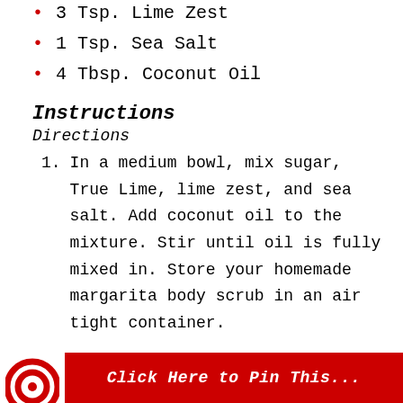3 Tsp. Lime Zest
1 Tsp. Sea Salt
4 Tbsp. Coconut Oil
Instructions
Directions
In a medium bowl, mix sugar, True Lime, lime zest, and sea salt. Add coconut oil to the mixture. Stir until oil is fully mixed in. Store your homemade margarita body scrub in an air tight container.